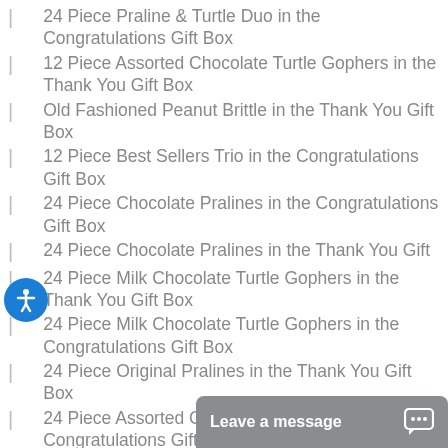24 Piece Praline & Turtle Duo in the Congratulations Gift Box
12 Piece Assorted Chocolate Turtle Gophers in the Thank You Gift Box
Old Fashioned Peanut Brittle in the Thank You Gift Box
12 Piece Best Sellers Trio in the Congratulations Gift Box
24 Piece Chocolate Pralines in the Congratulations Gift Box
24 Piece Chocolate Pralines in the Thank You Gift
24 Piece Milk Chocolate Turtle Gophers in the Thank You Gift Box
24 Piece Milk Chocolate Turtle Gophers in the Congratulations Gift Box
24 Piece Original Pralines in the Thank You Gift Box
24 Piece Assorted Chocolate Turtle Gophers in the Congratulations Gift Box
24 Piece Best Sellers Trio in the Congratulations Gift Box
24 Piece Baby Tu… Gift Box